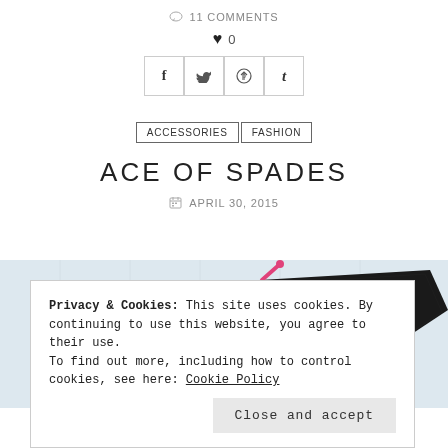11 COMMENTS
♥ 0
[Figure (other): Social share buttons: Facebook (f), Twitter (bird), Pinterest (P circle), Tumblr (t)]
ACCESSORIES  FASHION
ACE OF SPADES
APRIL 30, 2015
[Figure (photo): Photo of a black Kate Spade bag with pink zipper pull against a light blue/white background]
Privacy & Cookies: This site uses cookies. By continuing to use this website, you agree to their use.
To find out more, including how to control cookies, see here: Cookie Policy
Close and accept